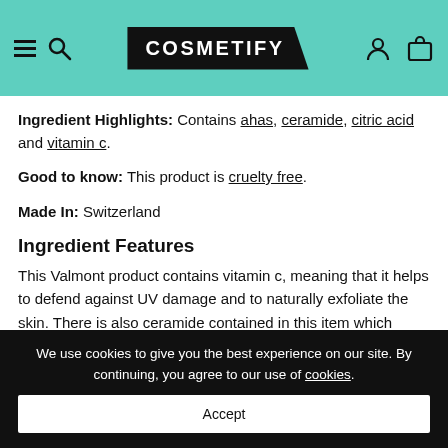COSMETIFY navigation bar
Ingredient Highlights: Contains ahas, ceramide, citric acid and vitamin c.
Good to know: This product is cruelty free.
Made In: Switzerland
Ingredient Features
This Valmont product contains vitamin c, meaning that it helps to defend against UV damage and to naturally exfoliate the skin. There is also ceramide contained in this item which helps to prevent dryness and chapping and to lock moisture into the skin.
We use cookies to give you the best experience on our site. By continuing, you agree to our use of cookies.
Accept